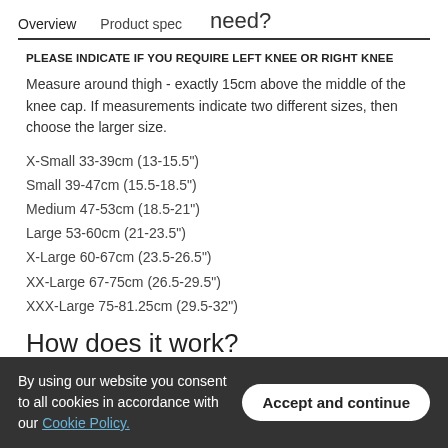Overview | Product spec | need?
PLEASE INDICATE IF YOU REQUIRE LEFT KNEE OR RIGHT KNEE
Measure around thigh - exactly 15cm above the middle of the knee cap. If measurements indicate two different sizes, then choose the larger size.
X-Small 33-39cm (13-15.5")
Small 39-47cm (15.5-18.5")
Medium 47-53cm (18.5-21")
Large 53-60cm (21-23.5")
X-Large 60-67cm (23.5-26.5")
XX-Large 67-75cm (26.5-29.5")
XXX-Large 75-81.25cm (29.5-32")
How does it work?
This Donjoy knee brace is technologically advanced for the treatment of kneecap problems. It exerts sideways pressure
By using our website you consent to all cookies in accordance with our Cookie Policy.